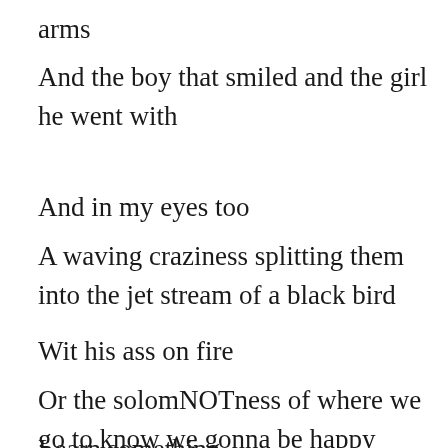arms
And the boy that smiled and the girl he went with
And in my eyes too
A waving craziness splitting them into the jet stream of a black bird
Wit his ass on fire
Or the solomNOTness of where we go to know we gonna be happy
Learn something